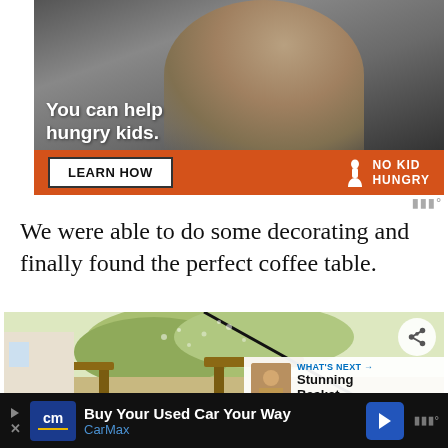[Figure (photo): Advertisement banner: No Kid Hungry. Photo of a child eating, with text 'You can help hungry kids.' and a 'LEARN HOW' button on an orange bar with No Kid Hungry logo.]
We were able to do some decorating and finally found the perfect coffee table.
[Figure (photo): Outdoor photo showing wooden furniture and trees, with a share button and 'WHAT'S NEXT → Stunning Basket...' overlay widget.]
[Figure (other): Bottom advertisement bar: CarMax - Buy Your Used Car Your Way]